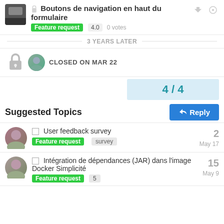🔒 Boutons de navigation en haut du formulaire | Feature request | 4.0 | 0 votes
3 YEARS LATER
CLOSED ON MAR 22
4 / 4
Suggested Topics
User feedback survey | Feature request | survey | 2 | May 17
Intégration de dépendances (JAR) dans l'image Docker Simplicité | Feature request | 5 | 15 | May 9